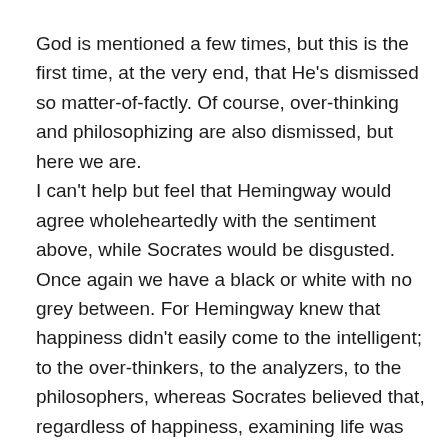God is mentioned a few times, but this is the first time, at the very end, that He's dismissed so matter-of-factly. Of course, over-thinking and philosophizing are also dismissed, but here we are. I can't help but feel that Hemingway would agree wholeheartedly with the sentiment above, while Socrates would be disgusted. Once again we have a black or white with no grey between. For Hemingway knew that happiness didn't easily come to the intelligent; to the over-thinkers, to the analyzers, to the philosophers, whereas Socrates believed that, regardless of happiness, examining life was the only way to actually live a good one. No matter your personal perspective on distress v complacency or thinking v not thinking or nature v nurture, one truth does hold universally true: we must cultivate our garden.